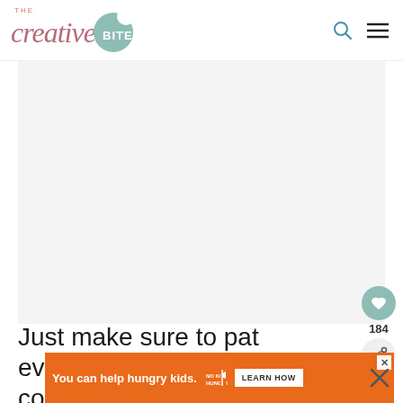THE creative BITE
[Figure (photo): Large blank/white image area below header - recipe photo placeholder]
Just make sure to pat everything dry before you coat it all with oil.
[Figure (infographic): Orange ad banner: 'You can help hungry kids. NO KID HUNGRY LEARN HOW']